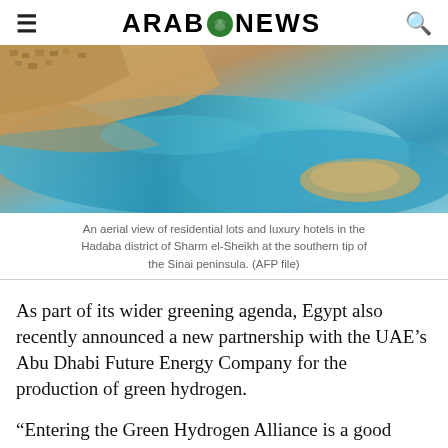ARAB NEWS
[Figure (photo): Aerial view of residential lots and luxury hotels in the Hadaba district of Sharm el-Sheikh at the southern tip of the Sinai peninsula, showing rocky coastline and turquoise sea water.]
An aerial view of residential lots and luxury hotels in the Hadaba district of Sharm el-Sheikh at the southern tip of the Sinai peninsula. (AFP file)
As part of its wider greening agenda, Egypt also recently announced a new partnership with the UAE’s Abu Dhabi Future Energy Company for the production of green hydrogen.
“Entering the Green Hydrogen Alliance is a good opportunity for Egypt to invest in its clean energy,” Mahmoud Mohieldin, a World Bank